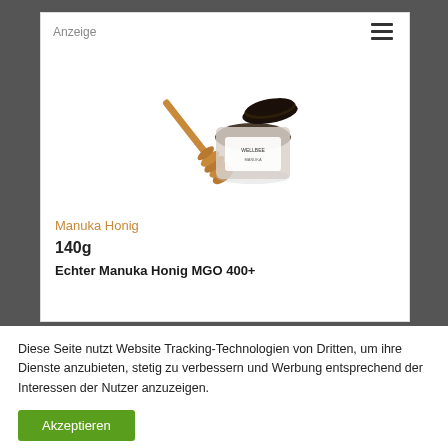Anzeige
[Figure (photo): A small dark glass jar of Manuka honey with its lid placed beside it, and a wooden honey dipper resting next to the jar against a white background.]
Manuka Honig
140g
Echter Manuka Honig MGO 400+
Diese Seite nutzt Website Tracking-Technologien von Dritten, um ihre Dienste anzubieten, stetig zu verbessern und Werbung entsprechend der Interessen der Nutzer anzuzeigen.
Akzeptieren